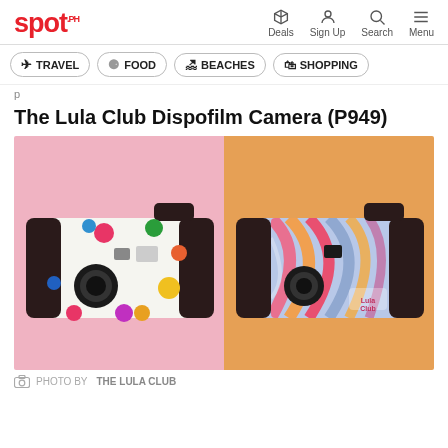spot. | Deals | Sign Up | Search | Menu
TRAVEL
FOOD
BEACHES
SHOPPING
The Lula Club Dispofilm Camera (P949)
[Figure (photo): Two Lula Club disposable cameras. Left: white camera with colorful polka dot pattern on a pink background. Right: camera with psychedelic swirl pattern in pink, orange, blue tones on an orange/tan background.]
PHOTO BY THE LULA CLUB